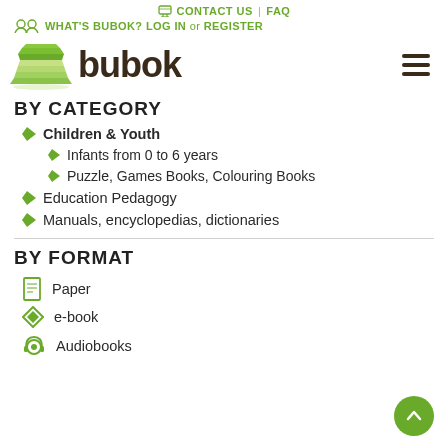CONTACT US | FAQ
WHAT'S BUBOK? LOG IN or REGISTER
[Figure (logo): Bubok logo with green stacked books icon and 'bubok' text in dark brown]
BY CATEGORY
Children & Youth
Infants from 0 to 6 years
Puzzle, Games Books, Colouring Books
Education Pedagogy
Manuals, encyclopedias, dictionaries
BY FORMAT
Paper
e-book
Audiobooks